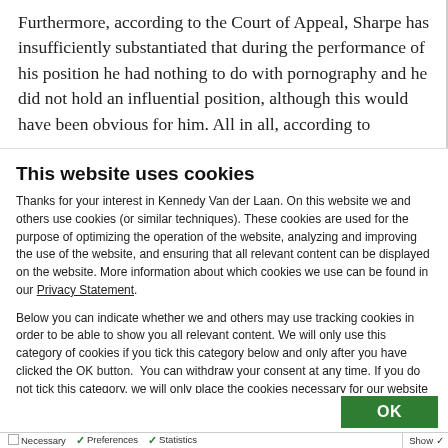Furthermore, according to the Court of Appeal, Sharpe has insufficiently substantiated that during the performance of his position he had nothing to do with pornography and he did not hold an influential position, although this would have been obvious for him. All in all, according to
This website uses cookies
Thanks for your interest in Kennedy Van der Laan. On this website we and others use cookies (or similar techniques). These cookies are used for the purpose of optimizing the operation of the website, analyzing and improving the use of the website, and ensuring that all relevant content can be displayed on the website. More information about which cookies we use can be found in our Privacy Statement.
Below you can indicate whether we and others may use tracking cookies in order to be able to show you all relevant content. We will only use this category of cookies if you tick this category below and only after you have clicked the OK button.  You can withdraw your consent at any time. If you do not tick this category, we will only place the cookies necessary for our website to operate and to provide us with analysis data on the use of our website in a privacy-friendly manner.
OK
Necessary   Preferences   Statistics   Show